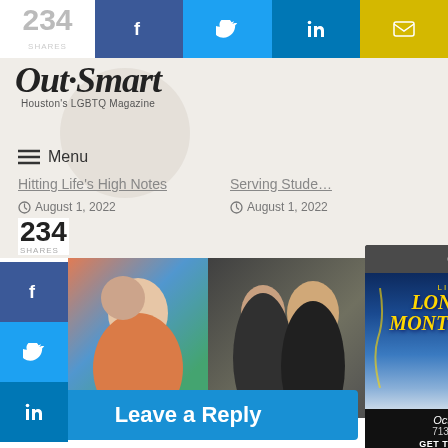234 SHARES
[Figure (screenshot): OutSmart Houston's LGBTQ Magazine logo with watermark background faces]
≡ Menu
Hitting Life's High Notes
Serving Stud…
⊙ August 1, 2022
⊙ August 1, 2022
234
SHARES
[Figure (photo): Two article photos: left shows drag legend women in colorful outfits at a festival; right shows a Houston drag performer in blue sparkly dress]
'Legends of Drag'
A Houston Drag…
⊙ August 1, 2022
⊙ August 1, 2022
[Figure (screenshot): Lil Nas X Long Live Montero Tour advertisement popup: October 11th, 713 Music Hall, GET TICKETS NOW, Live Nation, Cash App sponsor]
Leave a Reply